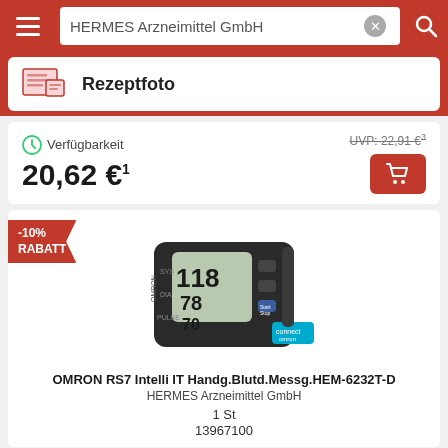HERMES Arzneimittel GmbH
Rezeptfoto
Verfügbarkeit
20,62 €¹
UVP: 22,91 €³
[Figure (photo): OMRON RS7 Intelli IT wrist blood pressure monitor showing digital display with readings 118, 78, 70, with connect logo and Start/Stop buttons]
-10% RABATT
OMRON RS7 Intelli IT Handg.Blutd.Messg.HEM-6232T-D
HERMES Arzneimittel GmbH
1 St
13967100